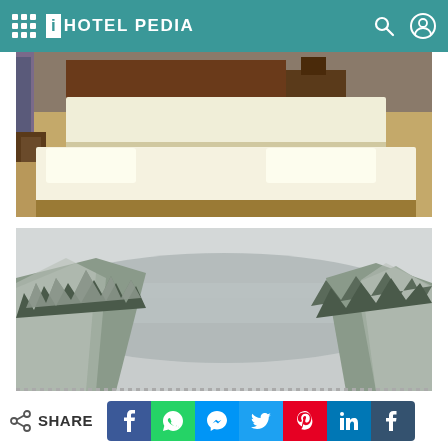iHOTEL PEDIA
[Figure (photo): Hotel room interior with two beds covered in white linens, wooden furniture, carpeted floor, and curtains in the background.]
[Figure (photo): Winter landscape with snow-covered pine trees on mountain slopes, foggy misty valley in the background.]
SHARE